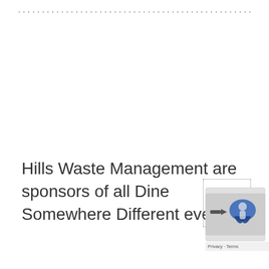Hills Waste Management are sponsors of all Dine Somewhere Different events.
[Figure (other): Google Maps widget/embed with dotted bounding box, reCAPTCHA or Street View icon overlay, and Privacy · Terms bar at bottom]